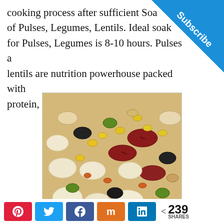cooking process after sufficient Soaking of Pulses, Legumes, Lentils. Ideal soaking for Pulses, Legumes is 8-10 hours. Pulses and lentils are nutrition powerhouse packed with protein, fiber, vitamin and minerals.
[Figure (photo): A close-up photograph of a large variety of mixed pulses, legumes, and lentils including kidney beans, black beans, chickpeas, mung beans, corn kernels, lentils, and various other colorful beans and seeds.]
< 239 SHARES — Social share bar with Pinterest, Twitter, Facebook, Mix, LinkedIn buttons